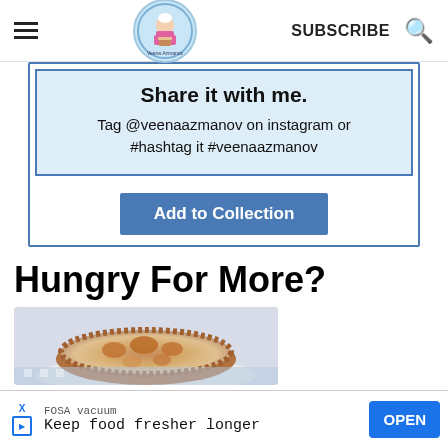Veena Azmanov | SUBSCRIBE
Share it with me. Tag @veenaazmanov on instagram or #hashtag it #veenaazmanov
Add to Collection
Hungry For More?
[Figure (photo): Photo of a baked pie or tart with brown crust and toppings]
FOSA vacuum Keep food fresher longer OPEN